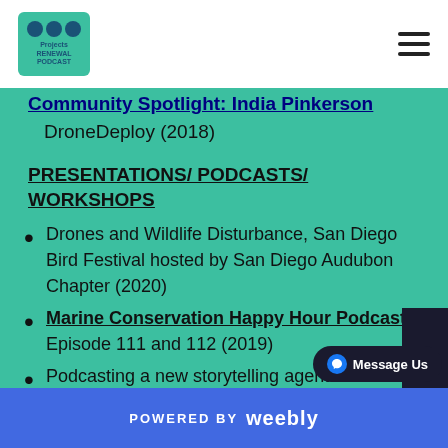Projects Renewal Podcast logo and navigation
Community Spotlight: India Pinkerson DroneDeploy (2018)
PRESENTATIONS/ PODCASTS/ WORKSHOPS
Drones and Wildlife Disturbance, San Diego Bird Festival hosted by San Diego Audubon Chapter (2020)
Marine Conservation Happy Hour Podcast Episode 111 and 112 (2019)
Podcasting a new storytelling agent for wildlife conservation, The Wildlife Society conference, Reno, NV (2019)
POWERED BY weebly